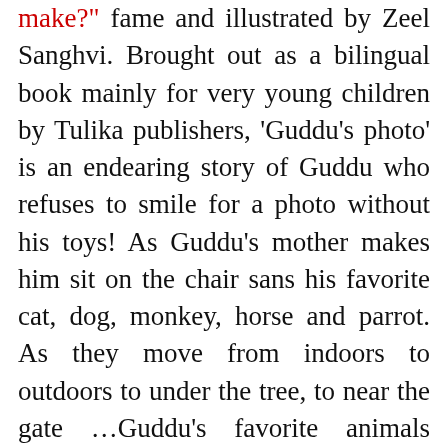make?" fame and illustrated by Zeel Sanghvi. Brought out as a bilingual book mainly for very young children by Tulika publishers, 'Guddu's photo' is an endearing story of Guddu who refuses to smile for a photo without his toys! As Guddu's mother makes him sit on the chair sans his favorite cat, dog, monkey, horse and parrot. As they move from indoors to outdoors to under the tree, to near the gate …Guddu's favorite animals follow them everywhere not letting his mom click the camera! The illustrations bring alive the child's imagination of his favorite toys without whom he feels left out. Finally …like all moms, Guddu's mom too gives in and lets Guddu pose for the camera